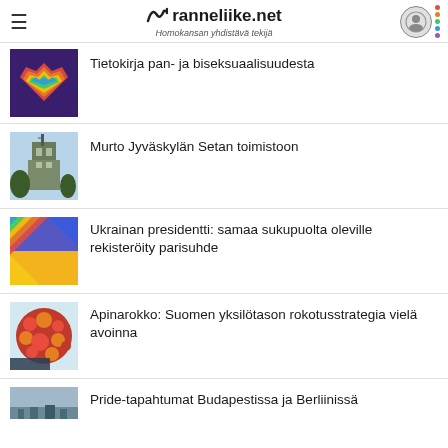ranneliike.net — Homokansan yhdistävä tekijä
Tietokirja pan- ja biseksuaalisuudesta
Murto Jyväskylän Setan toimistoon
Ukrainan presidentti: samaa sukupuolta oleville rekisteröity parisuhde
Apinarokko: Suomen yksilötason rokotusstrategia vielä avoinna
Pride-tapahtumat Budapestissa ja Berliinissä